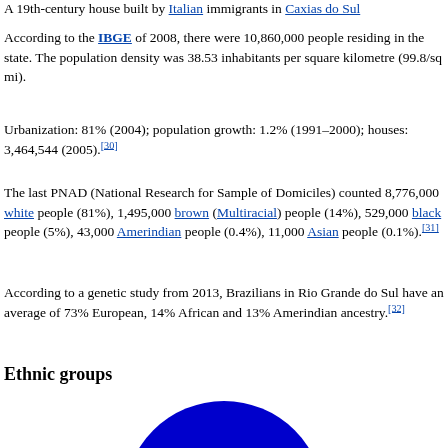A 19th-century house built by Italian immigrants in Caxias do Sul
According to the IBGE of 2008, there were 10,860,000 people residing in the state. The population density was 38.53 inhabitants per square kilometre (99.8/sq mi).
Urbanization: 81% (2004); population growth: 1.2% (1991–2000); houses: 3,464,544 (2005).[30]
The last PNAD (National Research for Sample of Domiciles) counted 8,776,000 white people (81%), 1,495,000 brown (Multiracial) people (14%), 529,000 black people (5%), 43,000 Amerindian people (0.4%), 11,000 Asian people (0.1%).[31]
According to a genetic study from 2013, Brazilians in Rio Grande do Sul have an average of 73% European, 14% African and 13% Amerindian ancestry.[32]
Ethnic groups
[Figure (pie-chart): Partial view of a pie chart showing ethnic groups distribution, predominantly a large blue circle representing the majority group (white, 81%).]